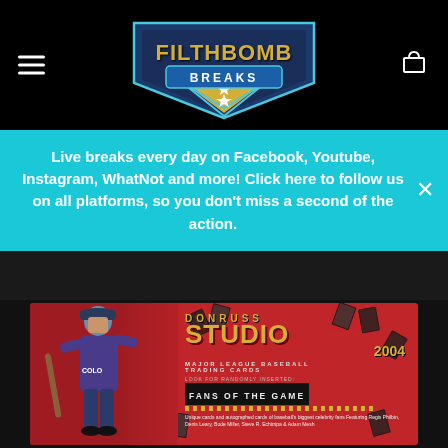[Figure (logo): Filthbomb Breaks logo – gold and teal shield shape with star, on black header bar]
Live breaks every day on Facebook, Youtube, Instagram, WhatNot and more! Click here to follow us on all platforms, so you don't miss a second of the action.
[Figure (photo): Donruss Studio 2004 Major League Baseball Trading Cards box – red box featuring a baseball player holding a bat, with 'FANS OF THE GAME' banner and celebrity autograph card info]